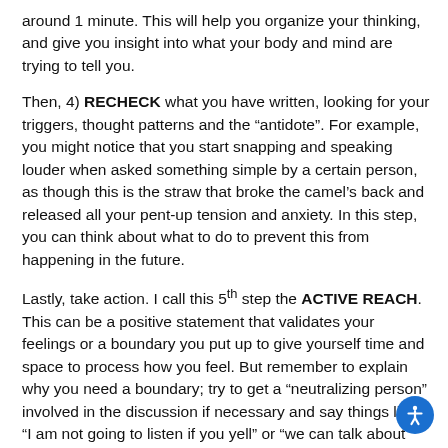around 1 minute. This will help you organize your thinking, and give you insight into what your body and mind are trying to tell you.
Then, 4) RECHECK what you have written, looking for your triggers, thought patterns and the “antidote”. For example, you might notice that you start snapping and speaking louder when asked something simple by a certain person, as though this is the straw that broke the camel’s back and released all your pent-up tension and anxiety. In this step, you can think about what to do to prevent this from happening in the future.
Lastly, take action. I call this 5th step the ACTIVE REACH. This can be a positive statement that validates your feelings or a boundary you put up to give yourself time and space to process how you feel. But remember to explain why you need a boundary; try to get a “neutralizing person” involved in the discussion if necessary and say things like “I am not going to listen if you yell” or “we can talk about general things but not deep emotions until I am in a better place”.